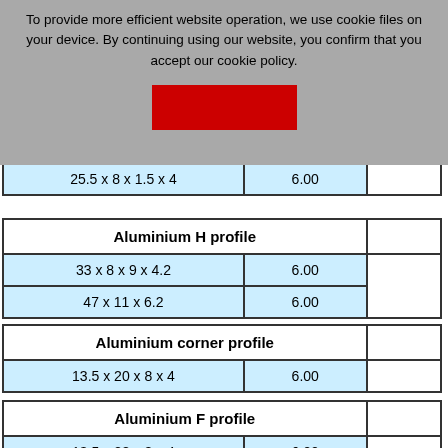To provide more efficient website operation, we use cookie files on your device. By continuing using our website, you confirm that you accept our cookie policy.
|  | 6.00 |  |
| --- | --- | --- |
| 25.5 x 8 x 1.5 x 4 | 6.00 |  |
| Aluminium H profile |  |  |
| --- | --- | --- |
| 33 x 8 x 9 x 4.2 | 6.00 |  |
| 47 x 11 x 6.2 | 6.00 |  |
| Aluminium corner profile |  |  |
| --- | --- | --- |
| 13.5 x 20 x 8 x 4 | 6.00 |  |
| Aluminium F profile |  |  |
| --- | --- | --- |
| 13.5 x 28 x 8 x 4 | 6.00 |  |